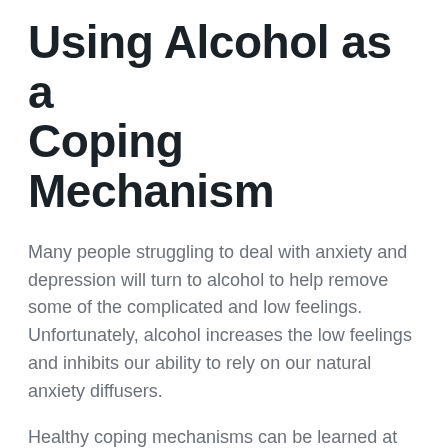Using Alcohol as a Coping Mechanism
Many people struggling to deal with anxiety and depression will turn to alcohol to help remove some of the complicated and low feelings. Unfortunately, alcohol increases the low feelings and inhibits our ability to rely on our natural anxiety diffusers.
Healthy coping mechanisms can be learned at an alcohol detox center to help the person replace alcohol with healthy coping mechanisms.
Facilities like Findlay Recovery are equipped with specialists who will find the proper coping